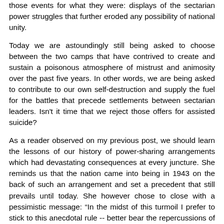those events for what they were: displays of the sectarian power struggles that further eroded any possibility of national unity.
Today we are astoundingly still being asked to choose between the two camps that have contrived to create and sustain a poisonous atmosphere of mistrust and animosity over the past five years. In other words, we are being asked to contribute to our own self-destruction and supply the fuel for the battles that precede settlements between sectarian leaders. Isn't it time that we reject those offers for assisted suicide?
As a reader observed on my previous post, we should learn the lessons of our history of power-sharing arrangements which had devastating consequences at every juncture. She reminds us that the nation came into being in 1943 on the back of such an arrangement and set a precedent that still prevails until today. She however chose to close with a pessimistic message: “In the midst of this turmoil I prefer to stick to this anecdotal rule -- better bear the repercussions of a divorce rather than live in a household of quarrelling